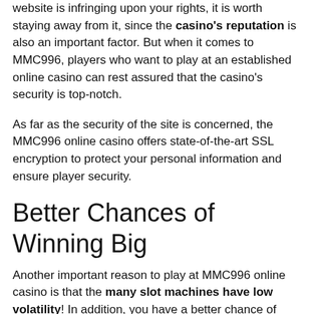website is infringing upon your rights, it is worth staying away from it, since the casino's reputation is also an important factor. But when it comes to MMC996, players who want to play at an established online casino can rest assured that the casino's security is top-notch.
As far as the security of the site is concerned, the MMC996 online casino offers state-of-the-art SSL encryption to protect your personal information and ensure player security.
Better Chances of Winning Big
Another important reason to play at MMC996 online casino is that the many slot machines have low volatility! In addition, you have a better chance of winning if the slots games have lower volatility,